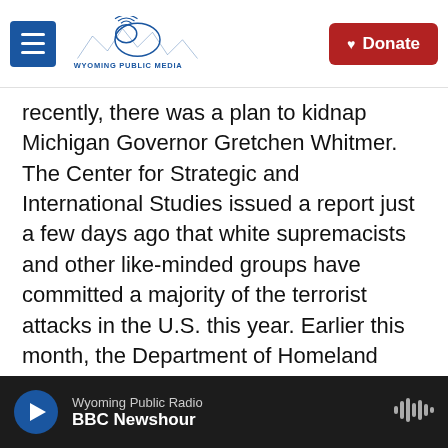Wyoming Public Media — Donate
recently, there was a plan to kidnap Michigan Governor Gretchen Whitmer. The Center for Strategic and International Studies issued a report just a few days ago that white supremacists and other like-minded groups have committed a majority of the terrorist attacks in the U.S. this year. Earlier this month, the Department of Homeland Security warned that violent white supremacy was the most persistent and lethal threat in the homeland.
So when you look ahead to Election Day and the days soon after, what do you see?
Wyoming Public Radio — BBC Newshour